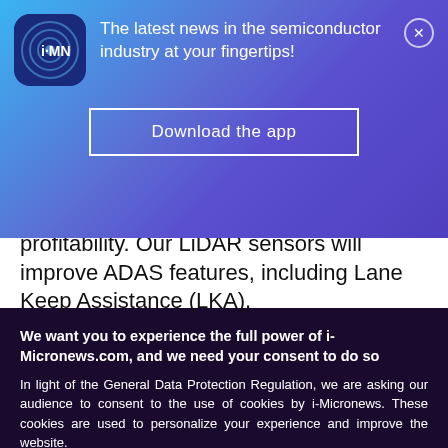[Figure (screenshot): i-Micronews app promotional banner with blue-purple gradient background, app icon, tagline text, download button, and close button]
profitability. Our LiDAR sensors will improve ADAS features, including Lane Keep Assistance (LKA),
We want you to experience the full power of i-Micronews.com, and we need your consent to do so
In light of the General Data Protection Regulation, we are asking our audience to consent to the use of cookies by i-Micronews. These cookies are used to personalize your experience and improve the website.
Click “I agree” below to consent to the use of this technology.
I agree
Cookies Policy
MANAGE MY PREFERENCES